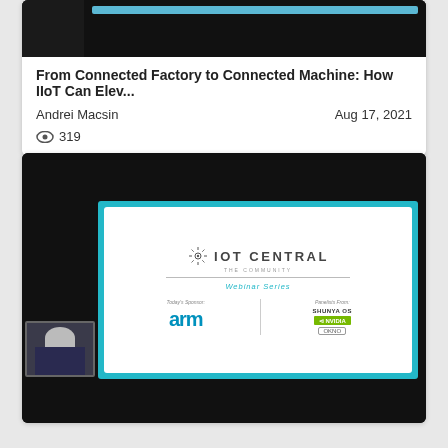[Figure (screenshot): Thumbnail of a video with dark background and teal/blue bar]
From Connected Factory to Connected Machine: How IIoT Can Elev...
Andrei Macsin
Aug 17, 2021
319
[Figure (screenshot): Webinar video screenshot showing IoT Central The Community Webinar Series slide with ARM as sponsor and SHUNYA OS, NVIDIA, OKNO as panelists, hosted webinar with speaker in bottom-left webcam view]